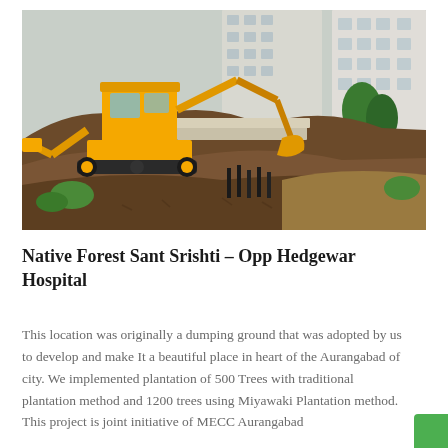[Figure (photo): Construction site photo showing a yellow JCB backhoe loader excavating soil mounds. Residential apartment buildings visible in background. Some green vegetation on the right side. The machine is working on what appears to be land clearing or landscaping groundwork.]
Native Forest Sant Srishti – Opp Hedgewar Hospital
This location was originally a dumping ground that was adopted by us to develop and make It a beautiful place in heart of the Aurangabad of city. We implemented plantation of 500 Trees with traditional plantation method and 1200 trees using Miyawaki Plantation method. This project is joint initiative of MECC Aurangabad